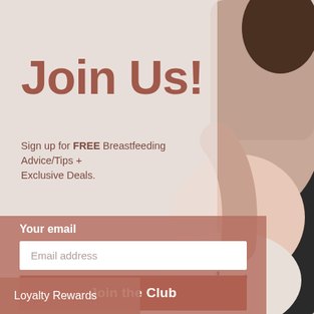[Figure (photo): A mother holding a newborn baby against her chest; background is light grey]
Join Us!
Sign up for FREE Breastfeeding Advice/Tips + Exclusive Deals.
Your email
Email address
Join the Club
Loyalty Rewards